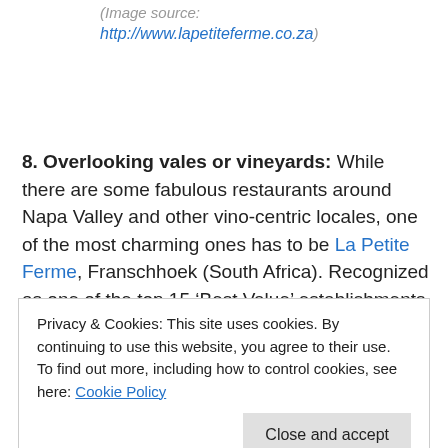(Image source: http://www.lapetiteferme.co.za)
8. Overlooking vales or vineyards: While there are some fabulous restaurants around Napa Valley and other vino-centric locales, one of the most charming ones has to be La Petite Ferme, Franschhoek (South Africa). Recognized as one of the top 15 ‘Best Value’ establishments in the world by Condé Nast Traveller, the
Privacy & Cookies: This site uses cookies. By continuing to use this website, you agree to their use.
To find out more, including how to control cookies, see here: Cookie Policy
[Close and accept]
with benches that compel you to sit and enjoy the